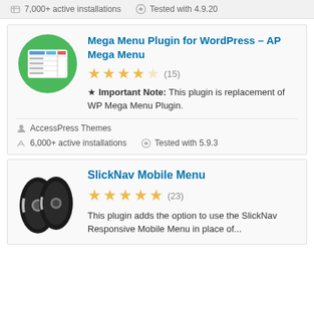7,000+ active installations   Tested with 4.9.20
[Figure (illustration): Green circle with white table/menu grid icon]
Mega Menu Plugin for WordPress – AP Mega Menu
★ Important Note: This plugin is replacement of WP Mega Menu Plugin.
AccessPress Themes
6,000+ active installations   Tested with 5.9.3
[Figure (photo): Two motorcycle tires/wheels side by side on white background]
SlickNav Mobile Menu
This plugin adds the option to use the SlickNav Responsive Mobile Menu in place of...